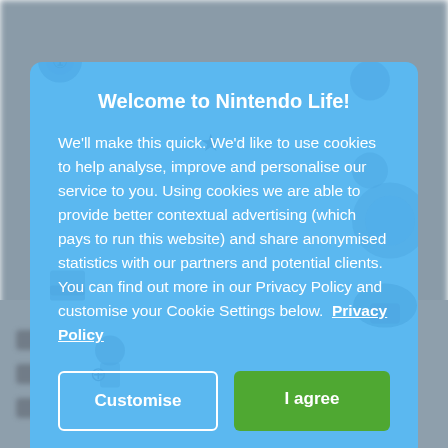[Figure (screenshot): Cookie consent modal dialog on Nintendo Life website. Blue background with Nintendo character pattern. Contains title 'Welcome to Nintendo Life!', body text about cookies and privacy policy, and two buttons: 'Customise' (outlined) and 'I agree' (green). Behind the modal is a blurred view of the Nintendo Life website.]
Welcome to Nintendo Life!
We'll make this quick. We'd like to use cookies to help analyse, improve and personalise our service to you. Using cookies we are able to provide better contextual advertising (which pays to run this website) and share anonymised statistics with our partners and potential clients. You can find out more in our Privacy Policy and customise your Cookie Settings below.  Privacy Policy